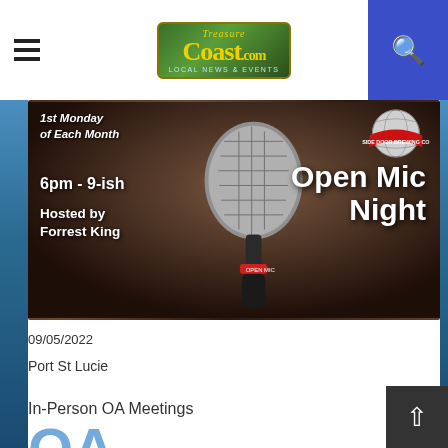TreasureCoast.com — Local News & Events
[Figure (photo): Open Mic Night event flyer: dark background with a close-up of a handheld microphone. Text overlay reads: '1st Monday of Each Month', '6pm - 9-ish', 'Hosted by Forrest King', 'Open Mic Night'. Side Door Brewing Co. globe logo in top right corner.]
09/05/2022
Port St Lucie
In-Person OA Meetings
[Figure (logo): Large blue 'OA' letters partially visible at bottom of page]